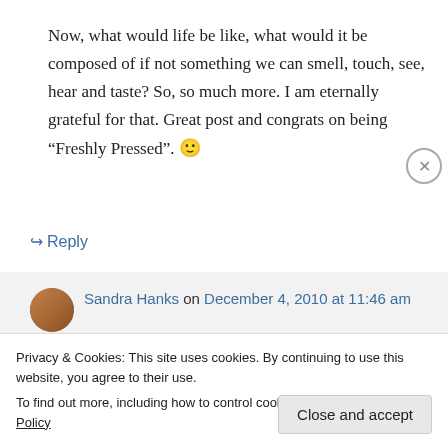Now, what would life be like, what would it be composed of if not something we can smell, touch, see, hear and taste? So, so much more. I am eternally grateful for that. Great post and congrats on being “Freshly Pressed”. 🙂
↪ Reply
Sandra Hanks on December 4, 2010 at 11:46 am
Privacy & Cookies: This site uses cookies. By continuing to use this website, you agree to their use.
To find out more, including how to control cookies, see here: Cookie Policy